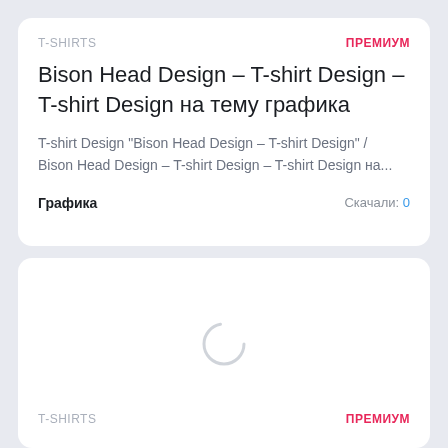T-SHIRTS | ПРЕМИУМ
Bison Head Design - T-shirt Design - T-shirt Design на тему графика
T-shirt Design "Bison Head Design - T-shirt Design" / Bison Head Design - T-shirt Design - T-shirt Design на...
Графика | Скачали: 0
[Figure (other): Loading spinner / content loading area in a card]
T-SHIRTS | ПРЕМИУМ